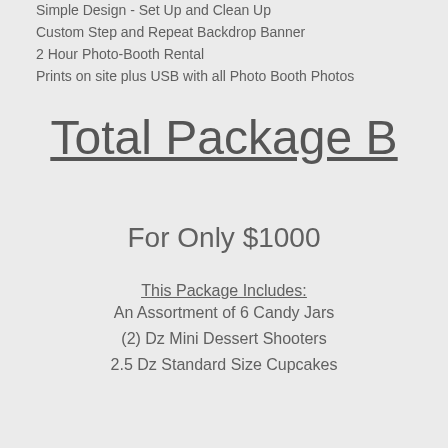Simple Design - Set Up and Clean Up
Custom Step and Repeat Backdrop Banner
2 Hour Photo-Booth Rental
Prints on site plus USB with all Photo Booth Photos
Total Package B
For Only $1000
This Package Includes:
An Assortment of 6 Candy Jars
(2) Dz Mini Dessert Shooters
2.5 Dz Standard Size Cupcakes